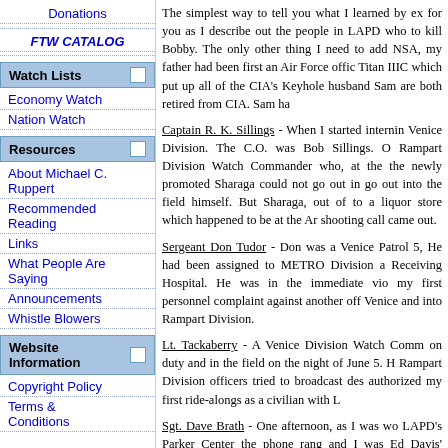Donations
FTW CATALOG
Watch Lists
Economy Watch
Nation Watch
Resources
About Michael C. Ruppert
Recommended Reading
Links
What People Are Saying
Announcements
Whistle Blowers
Website Information
Copyright Policy
Terms & Conditions
The simplest way to tell you what I learned by ex for you as I describe out the people in LAPD who to kill Bobby. The only other thing I need to add NSA, my father had been first an Air Force offic Titan IIIC which put up all of the CIA's Keyhole husband Sam are both retired from CIA. Sam ha
Captain R. K. Sillings - When I started internin Venice Division. The C.O. was Bob Sillings. O Rampart Division Watch Commander who, at the the newly promoted Sharaga could not go out in go out into the field himself. But Sharaga, out of to a liquor store which happened to be at the Ar shooting call came out.
Sergeant Don Tudor - Don was a Venice Patrol 5, He had been assigned to METRO Division a Receiving Hospital. He was in the immediate vio my first personnel complaint against another off Venice and into Rampart Division.
Lt. Tackaberry - A Venice Division Watch Comm on duty and in the field on the night of June 5. H Rampart Division officers tried to broadcast des authorized my first ride-alongs as a civilian with L
Sgt. Dave Brath - One afternoon, as I was wo LAPD's Parker Center the phone rang and I was Ed Davis' office under the supervision of Brath